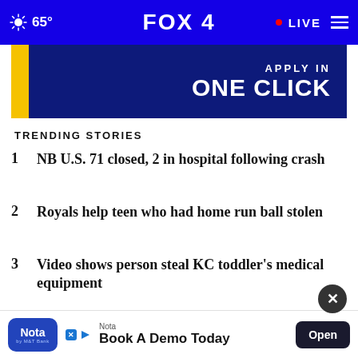65° FOX 4 LIVE
[Figure (screenshot): Advertisement banner with blue background showing 'APPLY IN ONE CLICK' text with yellow accent bar on the left and a cursor icon]
TRENDING STORIES
1 NB U.S. 71 closed, 2 in hospital following crash
2 Royals help teen who had home run ball stolen
3 Video shows person steal KC toddler's medical equipment
4 Olathe yoga studio shuts down without w...
[Figure (screenshot): Bottom advertisement overlay for Nota app - 'Book A Demo Today' with 'Open' button and close (X) button circle]